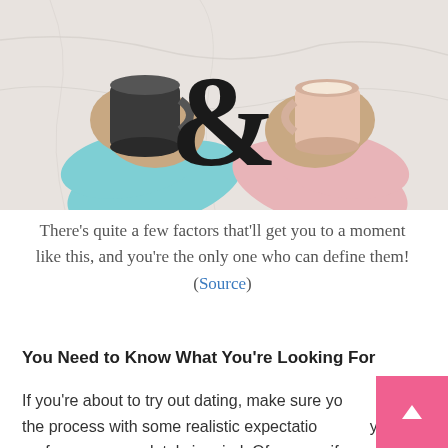[Figure (photo): Overhead view of two people holding coffee cups on a marble surface with a large black ampersand symbol between them. One person wearing a blue sleeve, the other wearing a pink sleeve.]
There's quite a few factors that'll get you to a moment like this, and you're the only one who can define them! (Source)
You Need to Know What You're Looking For
If you're about to try out dating, make sure you into the process with some realistic expectatio your preferences completely in mind. Of course, if